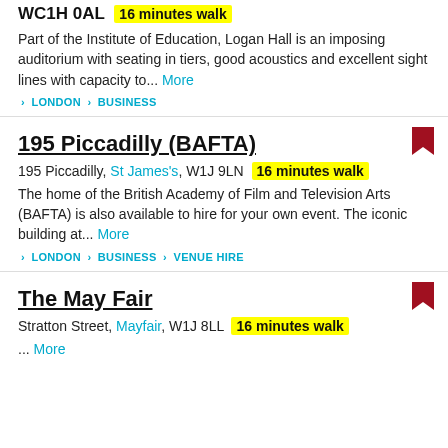WC1H 0AL  16 minutes walk
Part of the Institute of Education, Logan Hall is an imposing auditorium with seating in tiers, good acoustics and excellent sight lines with capacity to... More
> LONDON > BUSINESS
195 Piccadilly (BAFTA)
195 Piccadilly, St James's, W1J 9LN  16 minutes walk
The home of the British Academy of Film and Television Arts (BAFTA) is also available to hire for your own event. The iconic building at... More
> LONDON > BUSINESS > VENUE HIRE
The May Fair
Stratton Street, Mayfair, W1J 8LL  16 minutes walk
... More